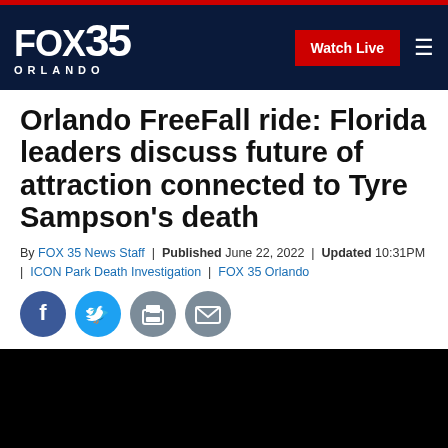[Figure (logo): FOX 35 Orlando logo in white on dark navy background, with Watch Live red button and hamburger menu icon]
Orlando FreeFall ride: Florida leaders discuss future of attraction connected to Tyre Sampson's death
By FOX 35 News Staff | Published June 22, 2022 | Updated 10:31PM | ICON Park Death Investigation | FOX 35 Orlando
[Figure (infographic): Row of four social sharing icons: Facebook (blue circle), Twitter (light blue circle), Print (grey circle), Email (grey circle)]
[Figure (photo): Black video placeholder rectangle]